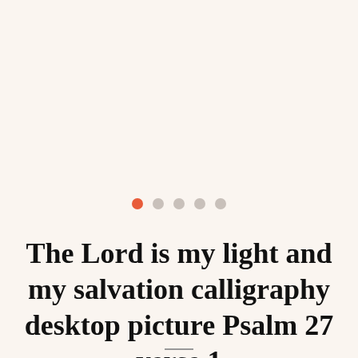[Figure (infographic): Five pagination dots in a row: first dot is filled orange/red, remaining four dots are light gray]
The Lord is my light and my salvation calligraphy desktop picture Psalm 27 verse 1